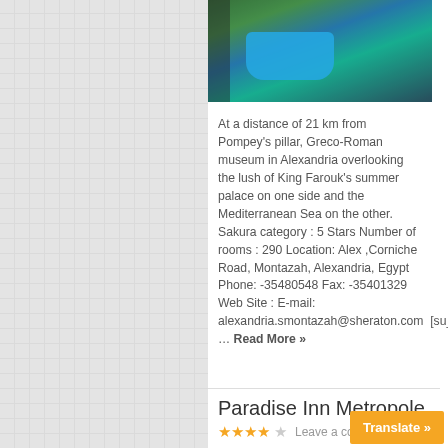[Figure (photo): Aerial view of a hotel complex with a swimming pool and surrounding grounds in Alexandria, Egypt]
At a distance of 21 km from Pompey's pillar, Greco-Roman museum in Alexandria overlooking the lush of King Farouk's summer palace on one side and the Mediterranean Sea on the other. Sakura category : 5 Stars Number of rooms : 290 Location: Alex ,Corniche Road, Montazah, Alexandria, Egypt Phone: -35480548 Fax: -35401329 Web Site : E-mail: alexandria.smontazah@sheraton.com  [su_gmap … Read More »
Paradise Inn Metropole
★★★★☆  Leave a comment